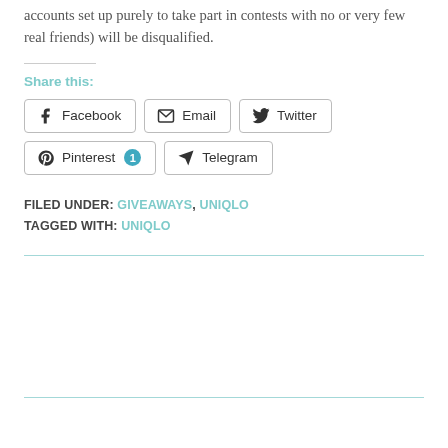accounts set up purely to take part in contests with no or very few real friends) will be disqualified.
Share this:
Facebook | Email | Twitter | Pinterest 1 | Telegram
FILED UNDER: GIVEAWAYS, UNIQLO
TAGGED WITH: UNIQLO